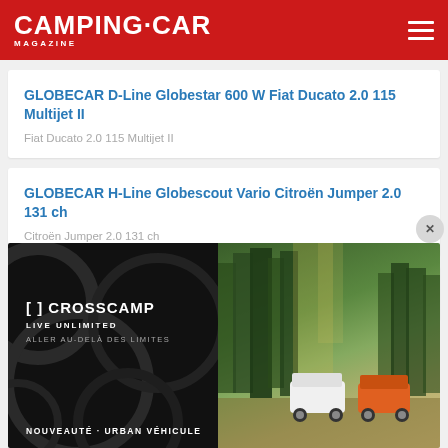CAMPING.CAR MAGAZINE
GLOBECAR D-Line Globestar 600 W Fiat Ducato 2.0 115 Multijet II
Fiat Ducato 2.0 115 Multijet II
GLOBECAR H-Line Globescout Vario Citroën Jumper 2.0 131 ch
Citroën Jumper 2.0 131 ch
GLOBECAR D-Line Globestar ... Fiat Ducato 2.0 115...
[Figure (photo): CROSSCAMP advertisement: Live Unlimited - Aller au-delà des limites. Shows two campervans in a forest setting. Left side dark background with abstract circle patterns and Crosscamp logo. Right side shows forest/nature with two vehicles.]